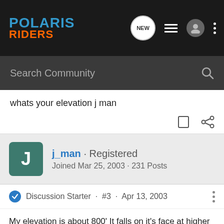[Figure (screenshot): Polaris Riders forum website header with logo, navigation icons (NEW, list, user, dots), and search bar]
whats your elevation j man
j_man · Registered
Joined Mar 25, 2003 · 231 Posts
Discussion Starter · #3 · Apr 13, 2003
My elevation is about 800' It falls on it's face at higher rpm's. I think I'll take your advice and just get a handful of jets. As long